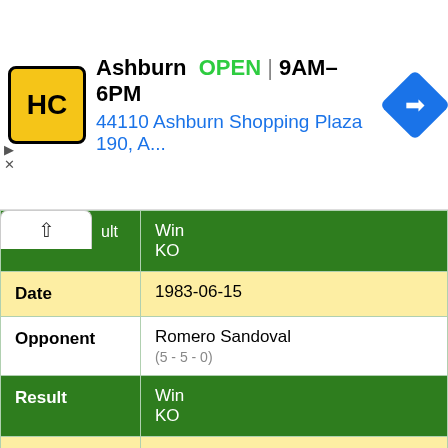[Figure (screenshot): Advertisement banner for Haircuts place (HC logo) in Ashburn, OPEN 9AM-6PM, address 44110 Ashburn Shopping Plaza 190, A...]
| Field | Value |
| --- | --- |
| Result (partial) | Win / KO |
| Date | 1983-06-15 |
| Opponent | Romero Sandoval (5 - 5 - 0) |
| Result | Win / KO |
| Date | 1983-05-01 |
| Opponent | Javier Fragoso (6 - 3 - 0) |
| Result (partial) | Win / KO |